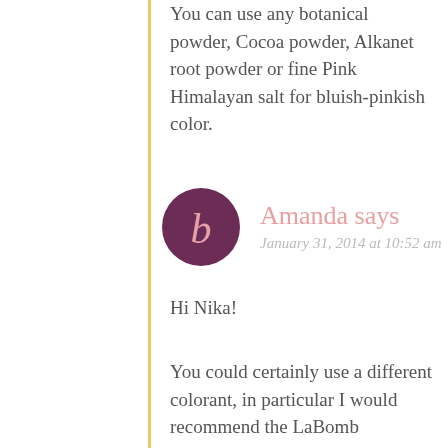You can use any botanical powder, Cocoa powder, Alkanet root powder or fine Pink Himalayan salt for bluish-pinkish color.
[Figure (illustration): Circular avatar icon with dark purple/maroon background and a stylized lowercase letter 'b' in pink/salmon color]
Amanda says
January 31, 2014 at 10:52 am
Hi Nika!
You could certainly use a different colorant, in particular I would recommend the LaBomb Colorants, which are specially formulated for bath bombs and won't stain the tub or result in colored water!